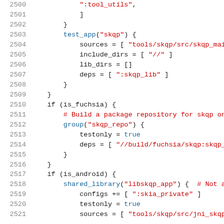[Figure (screenshot): Source code screenshot showing lines 2500-2521 of a build configuration file (GN/Ninja build system). Code includes test_app, group, shared_library directives with if conditions for is_fuchsia and is_android, colored syntax highlighting (green strings, blue functions, red comments).]